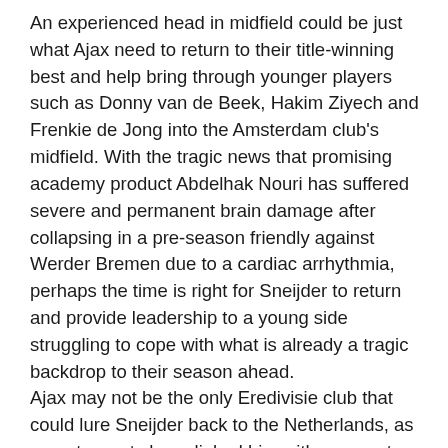An experienced head in midfield could be just what Ajax need to return to their title-winning best and help bring through younger players such as Donny van de Beek, Hakim Ziyech and Frenkie de Jong into the Amsterdam club's midfield. With the tragic news that promising academy product Abdelhak Nouri has suffered severe and permanent brain damage after collapsing in a pre-season friendly against Werder Bremen due to a cardiac arrhythmia, perhaps the time is right for Sneijder to return and provide leadership to a young side struggling to cope with what is already a tragic backdrop to their season ahead.
Ajax may not be the only Eredivisie club that could lure Sneijder back to the Netherlands, as recent reports have linked him with a move to hometown club FC Utrecht. While this would allow guaranteed first team football, questions arise as to whether Wesley Sneijder would want to move to a club that finished last season in 4th place and are currently in the 3rd Qualifying Round for the Europa League as opposed to Ajax who would give him a better chance of another league